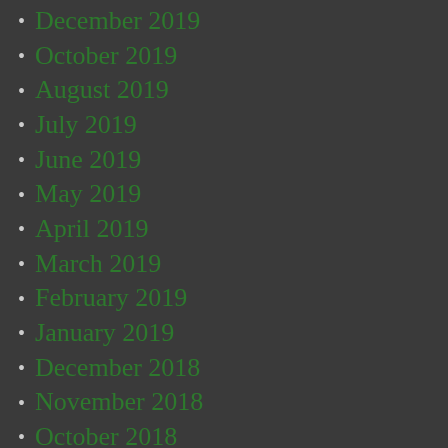December 2019
October 2019
August 2019
July 2019
June 2019
May 2019
April 2019
March 2019
February 2019
January 2019
December 2018
November 2018
October 2018
September 2018
July 2018
June 2018